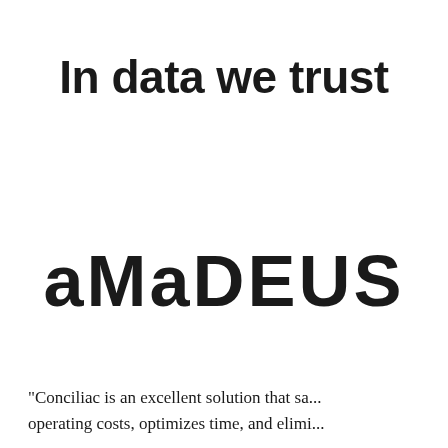In data we trust
[Figure (logo): Amadeus logo in large bold lowercase letters with mixed case styling: 'aMaDEUS']
“Conciliac is an excellent solution that sa... operating costs, optimizes time, and elimi...